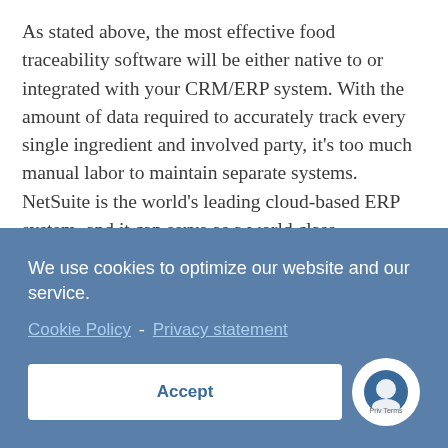As stated above, the most effective food traceability software will be either native to or integrated with your CRM/ERP system. With the amount of data required to accurately track every single ingredient and involved party, it’s too much manual labor to maintain separate systems. NetSuite is the world’s leading cloud-based ERP system, and it can serve as a world class traceability system as well. Apart from providing advanced accounting and finance, CRM, marketing, HR and more, NetSuite allows
We use cookies to optimize our website and our service.
Cookie Policy - Privacy statement
Accept
There’s a reason why so many food & beverage